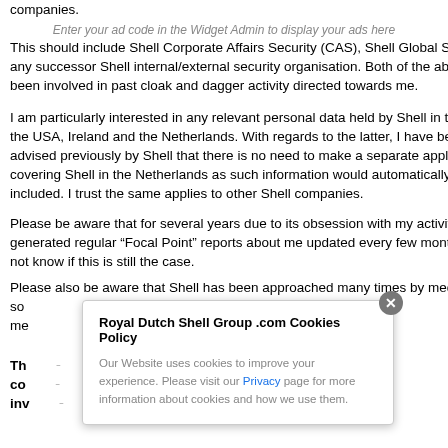companies.
Enter your ad code in the Widget Admin to display your ads here
This should include Shell Corporate Affairs Security (CAS), Shell Global Se... any successor Shell internal/external security organisation. Both of the abo... been involved in past cloak and dagger activity directed towards me.
I am particularly interested in any relevant personal data held by Shell in th... the USA, Ireland and the Netherlands. With regards to the latter, I have bee... advised previously by Shell that there is no need to make a separate applic... covering Shell in the Netherlands as such information would automatically ... included. I trust the same applies to other Shell companies.
Please be aware that for several years due to its obsession with my activiti... generated regular “Focal Point” reports about me updated every few month... not know if this is still the case.
Please also be aware that Shell has been approached many times by med... so... atters me...
Th... to my co... l cove... inv... and th...
[Figure (screenshot): Cookie consent popup overlay for Royal Dutch Shell Group .com with title 'Royal Dutch Shell Group .com Cookies Policy', body text about website cookies and privacy, a blue Privacy link, and a grey circular close button with X.]